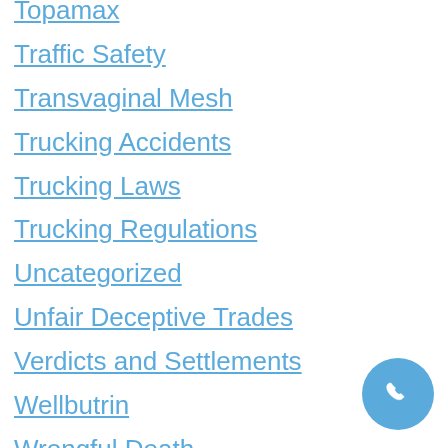Topamax
Traffic Safety
Transvaginal Mesh
Trucking Accidents
Trucking Laws
Trucking Regulations
Uncategorized
Unfair Deceptive Trades
Verdicts and Settlements
Wellbutrin
Wrongful Death
Yaz/Yasmin
Zofran
Zoloft